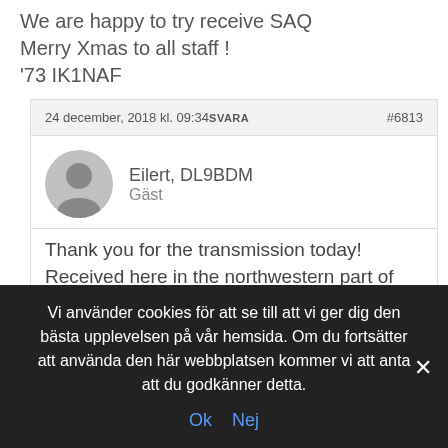We are happy to try receive SAQ
Merry Xmas to all staff !
'73 IK1NAF
24 december, 2018 kl. 09:34 SVARA #6813
Eilert, DL9BDM
Gäst
Thank you for the transmission today! Received here in the northwestern part of Germany with an SSB LAN-SDR, signal strenght was about -110 dBm (S 4 – 5). Your message was complete readable (R5). My
Vi använder cookies för att se till att vi ger dig den bästa upplevelsen på vår hemsida. Om du fortsätter att använda den här webbplatsen kommer vi att anta att du godkänner detta.
Ok  Nej